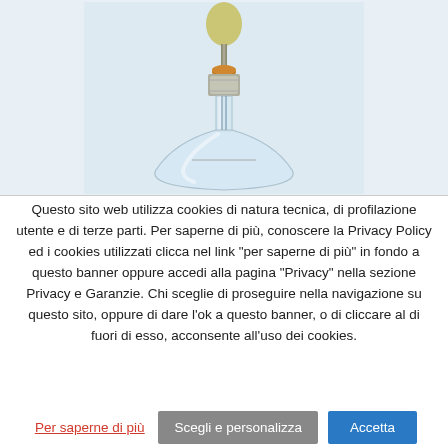[Figure (photo): Laboratory volumetric flask with glass stopper and rubber seal, on light blue background]
Questo sito web utilizza cookies di natura tecnica, di profilazione utente e di terze parti. Per saperne di più, conoscere la Privacy Policy ed i cookies utilizzati clicca nel link "per saperne di più" in fondo a questo banner oppure accedi alla pagina "Privacy" nella sezione Privacy e Garanzie. Chi sceglie di proseguire nella navigazione su questo sito, oppure di dare l'ok a questo banner, o di cliccare al di fuori di esso, acconsente all'uso dei cookies.
Per saperne di più
Scegli e personalizza
Accetta